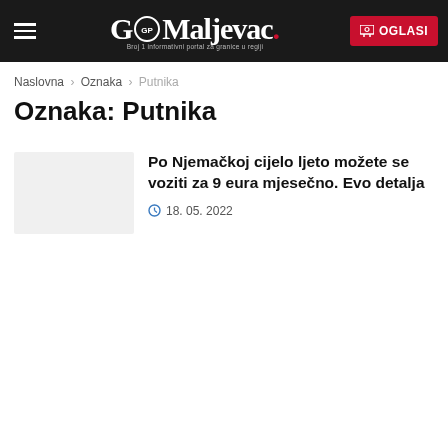GP Maljevac. Broj 1 informativni portal za granice u regiji | OGLASI
Naslovna > Oznaka > Putnika
Oznaka: Putnika
Po Njemačkoj cijelo ljeto možete se voziti za 9 eura mjesečno. Evo detalja
18. 05. 2022